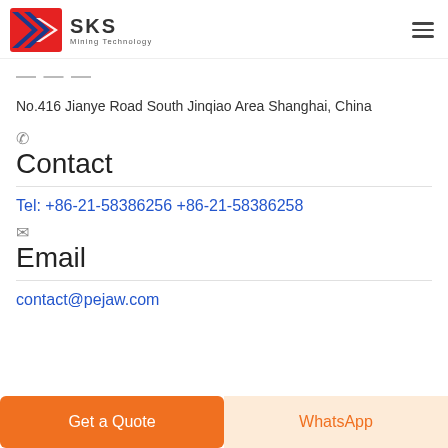SKS Mining Technology
No.416 Jianye Road South Jinqiao Area Shanghai, China
Contact
Tel: +86-21-58386256 +86-21-58386258
Email
contact@pejaw.com
Get a Quote  WhatsApp